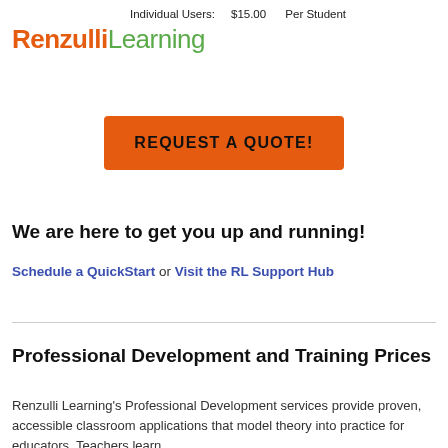Individual Users:   $15.00   Per Student
Renzulli Learning
REQUEST A QUOTE!
We are here to get you up and running!
Schedule a QuickStart or Visit the RL Support Hub
Professional Development and Training Prices
Renzulli Learning's Professional Development services provide proven, accessible classroom applications that model theory into practice for educators. Teachers learn